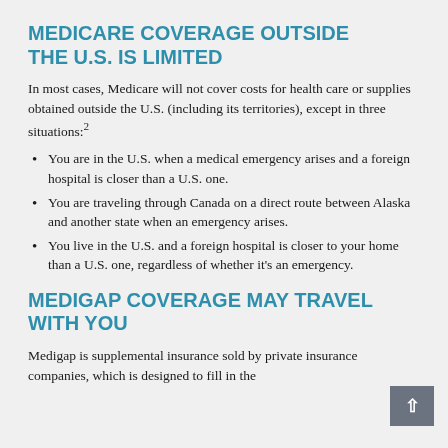MEDICARE COVERAGE OUTSIDE THE U.S. IS LIMITED
In most cases, Medicare will not cover costs for health care or supplies obtained outside the U.S. (including its territories), except in three situations:²
You are in the U.S. when a medical emergency arises and a foreign hospital is closer than a U.S. one.
You are traveling through Canada on a direct route between Alaska and another state when an emergency arises.
You live in the U.S. and a foreign hospital is closer to your home than a U.S. one, regardless of whether it's an emergency.
MEDIGAP COVERAGE MAY TRAVEL WITH YOU
Medigap is supplemental insurance sold by private insurance companies, which is designed to fill in the